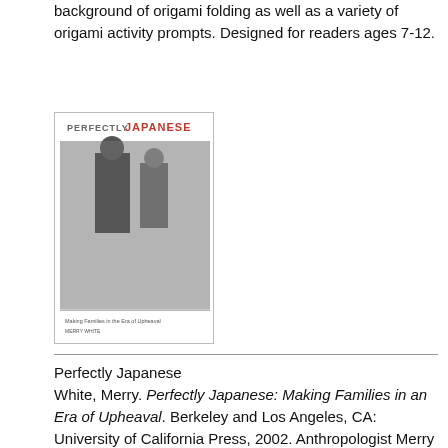background of origami folding as well as a variety of origami activity prompts. Designed for readers ages 7-12.
[Figure (photo): Book cover of 'Perfectly Japanese' by Merry White, showing the title in bold text with a black and white photograph of two people]
Perfectly Japanese
White, Merry. Perfectly Japanese: Making Families in an Era of Upheaval. Berkeley and Los Angeles, CA: University of California Press, 2002. Anthropologist Merry White explores 20th century transformations in family structure in Japan, comparing the reality with two idealized models from the Meiji and postwar periods.
[Figure (photo): Book cover of 'Rice as Self' by Emiko Ohnuki-Tierney, showing a warm tan/orange cover with Japanese text and imagery of rice stalks]